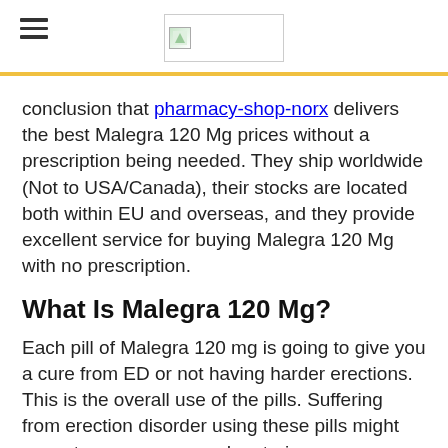[hamburger menu] [logo image]
conclusion that pharmacy-shop-norx delivers the best Malegra 120 Mg prices without a prescription being needed. They ship worldwide (Not to USA/Canada), their stocks are located both within EU and overseas, and they provide excellent service for buying Malegra 120 Mg with no prescription.
What Is Malegra 120 Mg?
Each pill of Malegra 120 mg is going to give you a cure from ED or not having harder erections. This is the overall use of the pills. Suffering from erection disorder using these pills might come to your rescue and restoring